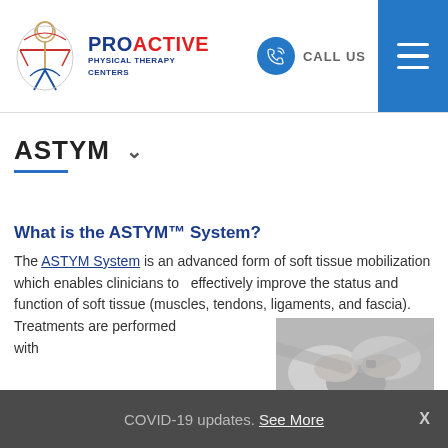[Figure (logo): ProActive Physical Therapy Centers logo with stylized human figure and brand name]
CALL US
ASTYM
What is the ASTYM™ System?
The ASTYM System is an advanced form of soft tissue mobilization which enables clinicians to effectively improve the status and function of soft tissue (muscles, tendons, ligaments, and fascia). Treatments are performed with
[Figure (photo): Grayscale photo of a physical therapy treatment being performed on a patient's arm/wrist area]
COVID-19 updates. See More